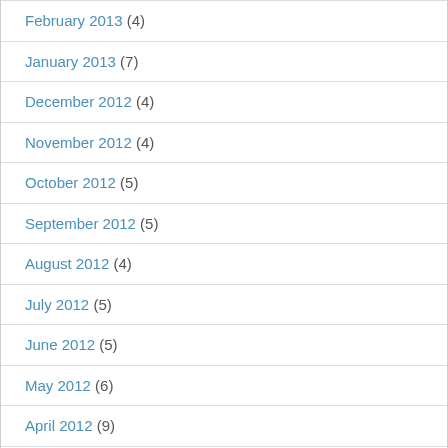February 2013 (4)
January 2013 (7)
December 2012 (4)
November 2012 (4)
October 2012 (5)
September 2012 (5)
August 2012 (4)
July 2012 (5)
June 2012 (5)
May 2012 (6)
April 2012 (9)
March 2012 (6)
February 2012 (5)
January 2012 (7)
December 2011 (16)